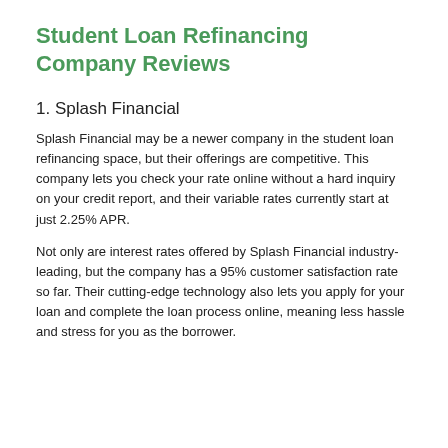Student Loan Refinancing Company Reviews
1. Splash Financial
Splash Financial may be a newer company in the student loan refinancing space, but their offerings are competitive. This company lets you check your rate online without a hard inquiry on your credit report, and their variable rates currently start at just 2.25% APR.
Not only are interest rates offered by Splash Financial industry-leading, but the company has a 95% customer satisfaction rate so far. Their cutting-edge technology also lets you apply for your loan and complete the loan process online, meaning less hassle and stress for you as the borrower.